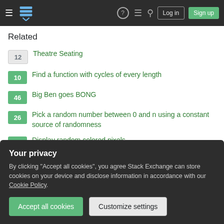Stack Exchange navigation bar with Log in and Sign up buttons
Related
12  Theatre Seating
10  Find a function with cycles of every length
46  Big Ben goes BONG
26  Pick a random number between 0 and n using a constant source of randomness
49  Display random colored pixels
19  More efficient US state codes
Your privacy
By clicking "Accept all cookies", you agree Stack Exchange can store cookies on your device and disclose information in accordance with our Cookie Policy.
Accept all cookies  Customize settings
Hot Network Questions